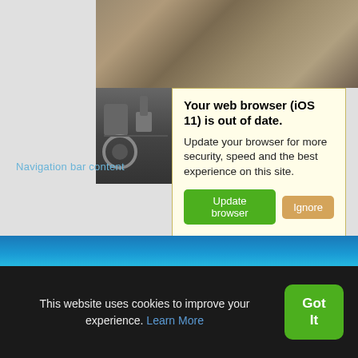[Figure (screenshot): Background photo showing rocky terrain with brownish-gray tones, and a small inset photo of mechanical parts (motorcycle engine)]
Your web browser (iOS 11) is out of date. Update your browser for more security, speed and the best experience on this site. [Update browser] [Ignore]
This website uses cookies to improve your experience. Learn More [Got It]